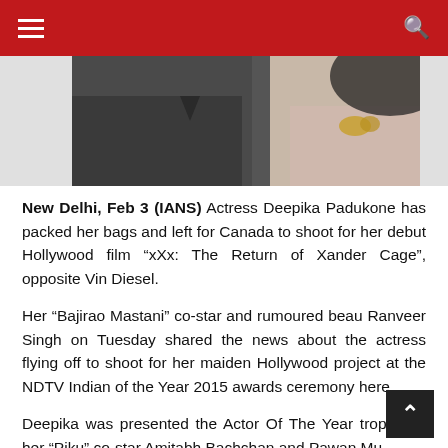Navigation header with hamburger menu and search icon
[Figure (photo): Partial photo of two people, one in a dark top (left) and one in lighter clothing with a gold accessory (right), cropped at top]
New Delhi, Feb 3 (IANS) Actress Deepika Padukone has packed her bags and left for Canada to shoot for her debut Hollywood film “xXx: The Return of Xander Cage”, opposite Vin Diesel.
Her “Bajirao Mastani” co-star and rumoured beau Ranveer Singh on Tuesday shared the news about the actress flying off to shoot for her maiden Hollywood project at the NDTV Indian of the Year 2015 awards ceremony here.
Deepika was presented the Actor Of The Year trophy by her “Piku” co-star Amitabh Bachchan and Pawan Munjal, chairman of Hero MotoCorp.